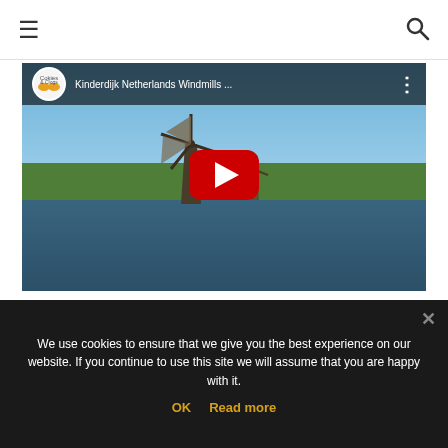≡  🔍
[Figure (screenshot): YouTube video thumbnail showing Kinderdijk Netherlands windmills with a canal, green banks, and blue sky. YouTube player UI with channel icon (Clogs & Clogs), title 'Kinderdijk Netherlands Windmills …', three-dots menu icon, and a red play button in the center.]
We use cookies to ensure that we give you the best experience on our website. If you continue to use this site we will assume that you are happy with it.
OK   Read more